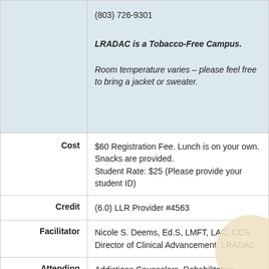(803) 726-9301
LRADAC is a Tobacco-Free Campus.
Room temperature varies – please feel free to bring a jacket or sweater.
|  |  |
| --- | --- |
| Cost | $60 Registration Fee. Lunch is on your own. Snacks are provided.
Student Rate: $25 (Please provide your student ID) |
| Credit | (6.0) LLR Provider #4563 |
| Facilitator | Nicole S. Deems, Ed.S, LMFT, LAC, CCS, Director of Clinical Advancement, LRADAC |
| Attending | Addictions Counselors, Rehabilitation Counselors, Social Workers and Other Health Care or Treatment Providers |
| Objectives | 1. Develop a basic understanding of co-occurring |